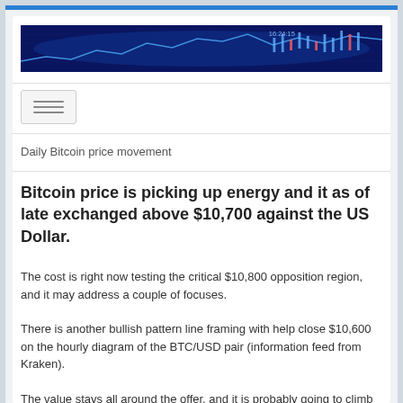[Figure (photo): Dark blue financial stock chart banner image with candlestick charts and numbers visible, showing market data visualization]
Daily Bitcoin price movement
Bitcoin price is picking up energy and it as of late exchanged above $10,700 against the US Dollar.
The cost is right now testing the critical $10,800 opposition region, and it may address a couple of focuses.
There is another bullish pattern line framing with help close $10,600 on the hourly diagram of the BTC/USD pair (information feed from Kraken).
The value stays all around the offer, and it is probably going to climb further over the $10,800 and $11,000 protections.